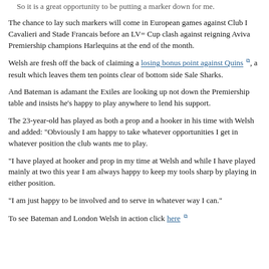So it is a great opportunity to be putting a marker down for me.
The chance to lay such markers will come in European games against Club I Cavalieri and Stade Francais before an LV= Cup clash against reigning Aviva Premiership champions Harlequins at the end of the month.
Welsh are fresh off the back of claiming a losing bonus point against Quins, a result which leaves them ten points clear of bottom side Sale Sharks.
And Bateman is adamant the Exiles are looking up not down the Premiership table and insists he's happy to play anywhere to lend his support.
The 23-year-old has played as both a prop and a hooker in his time with Welsh and added: "Obviously I am happy to take whatever opportunities I get in whatever position the club wants me to play.
"I have played at hooker and prop in my time at Welsh and while I have played mainly at two this year I am always happy to keep my tools sharp by playing in either position.
"I am just happy to be involved and to serve in whatever way I can."
To see Bateman and London Welsh in action click here